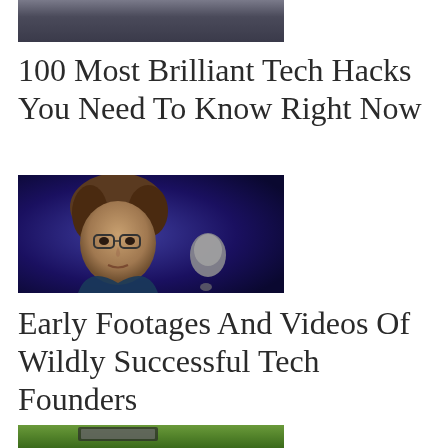[Figure (photo): Partial top of a photo showing people, cropped at the top of the page]
100 Most Brilliant Tech Hacks You Need To Know Right Now
[Figure (photo): Photo of a man with glasses and brown hair speaking at a microphone against a blue background]
Early Footages And Videos Of Wildly Successful Tech Founders
[Figure (photo): Partial bottom photo showing a tablet device on an outdoor surface, cropped at the bottom of the page]